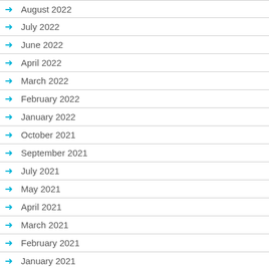August 2022
July 2022
June 2022
April 2022
March 2022
February 2022
January 2022
October 2021
September 2021
July 2021
May 2021
April 2021
March 2021
February 2021
January 2021